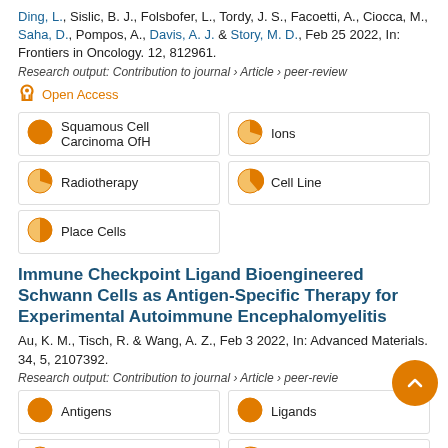Ding, L., Sislic, B. J., Folsbofer, L., Tordy, J. S., Facoetti, A., Ciocca, M., Saha, D., Pompos, A., Davis, A. J. & Story, M. D., Feb 25 2022, In: Frontiers in Oncology. 12, 812961.
Research output: Contribution to journal › Article › peer-review
Open Access
Squamous Cell Carcinoma OfH
Ions
Radiotherapy
Cell Line
Place Cells
Immune Checkpoint Ligand Bioengineered Schwann Cells as Antigen-Specific Therapy for Experimental Autoimmune Encephalomyelitis
Au, K. M., Tisch, R. & Wang, A. Z., Feb 3 2022, In: Advanced Materials. 34, 5, 2107392.
Research output: Contribution to journal › Article › peer-review
Antigens
Ligands
T-Cells
Cells